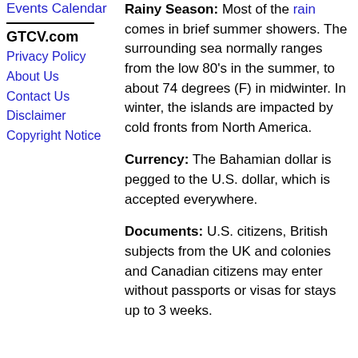Events Calendar
GTCV.com
Privacy Policy
About Us
Contact Us
Disclaimer
Copyright Notice
Rainy Season: Most of the rain comes in brief summer showers. The surrounding sea normally ranges from the low 80's in the summer, to about 74 degrees (F) in midwinter. In winter, the islands are impacted by cold fronts from North America.
Currency: The Bahamian dollar is pegged to the U.S. dollar, which is accepted everywhere.
Documents: U.S. citizens, British subjects from the UK and colonies and Canadian citizens may enter without passports or visas for stays up to 3 weeks.